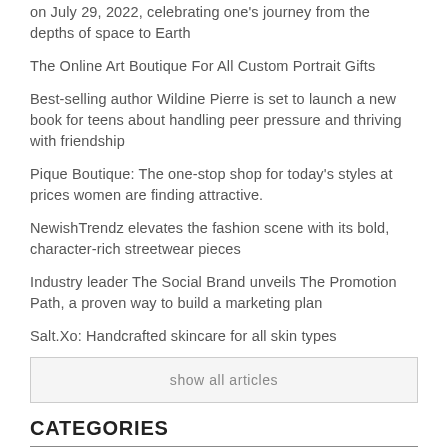on July 29, 2022, celebrating one's journey from the depths of space to Earth
The Online Art Boutique For All Custom Portrait Gifts
Best-selling author Wildine Pierre is set to launch a new book for teens about handling peer pressure and thriving with friendship
Pique Boutique: The one-stop shop for today's styles at prices women are finding attractive.
NewishTrendz elevates the fashion scene with its bold, character-rich streetwear pieces
Industry leader The Social Brand unveils The Promotion Path, a proven way to build a marketing plan
Salt.Xo: Handcrafted skincare for all skin types
show all articles
CATEGORIES